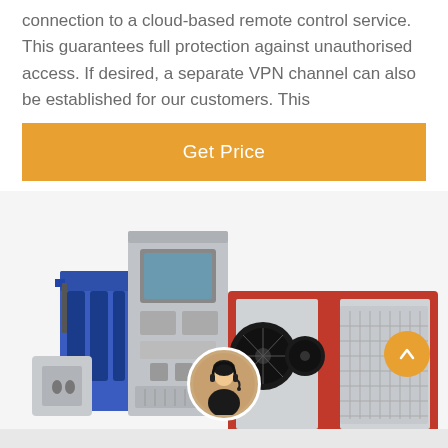connection to a cloud-based remote control service. This guarantees full protection against unauthorised access. If desired, a separate VPN channel can also be established for our customers. This
Get Price
[Figure (photo): Industrial machine equipment with red and grey panels, blue hydraulic components on the left, a control panel with screen in the center-left, and three large circular fans/vents on the right side]
Leave Message   Chat Online